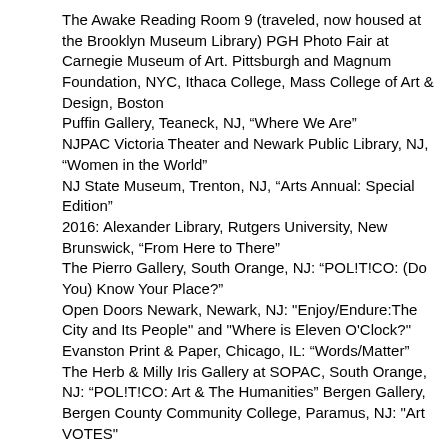The Awake Reading Room 9 (traveled, now housed at the Brooklyn Museum Library) PGH Photo Fair at Carnegie Museum of Art. Pittsburgh and Magnum Foundation, NYC, Ithaca College, Mass College of Art & Design, Boston
Puffin Gallery, Teaneck, NJ, “Where We Are”
NJPAC Victoria Theater and Newark Public Library, NJ, “Women in the World”
NJ State Museum, Trenton, NJ, “Arts Annual: Special Edition”
2016: Alexander Library, Rutgers University, New Brunswick, “From Here to There”
The Pierro Gallery, South Orange, NJ: “POL!T!CO: (Do You) Know Your Place?”
Open Doors Newark, Newark, NJ: "Enjoy/Endure:The City and Its People" and "Where is Eleven O'Clock?"
Evanston Print & Paper, Chicago, IL: “Words/Matter”
The Herb & Milly Iris Gallery at SOPAC, South Orange, NJ: “POL!T!CO: Art & The Humanities” Bergen Gallery, Bergen County Community College, Paramus, NJ: "Art VOTES"
Coburn Gallery, Ashland University, Ashland, OH, “Interrupted”
Space 776, Bushwick, Brooklyn, Artists Book Fair, “We Still Imagine, Make and Read Books”
Books Family Gallery, Aired and A Celebration, Center for...